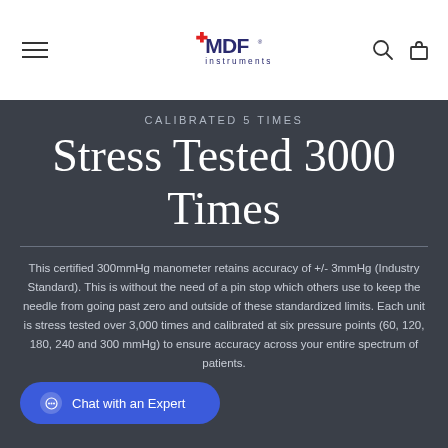MDF Instruments
CALIBRATED 5 TIMES
Stress Tested 3000 Times
This certified 300mmHg manometer retains accuracy of +/- 3mmHg (Industry Standard). This is without the need of a pin stop which others use to keep the needle from going past zero and outside of these standardized limits. Each unit is stress tested over 3,000 times and calibrated at six pressure points (60, 120, 180, 240 and 300 mmHg) to ensure accuracy across your entire spectrum of patients.
Chat with an Expert